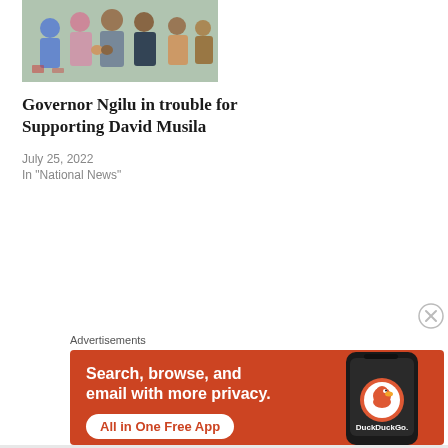[Figure (photo): Group of people at an outdoor event, shaking hands, in colorful attire]
Governor Ngilu in trouble for Supporting David Musila
July 25, 2022
In "National News"
Advertisements
[Figure (infographic): DuckDuckGo advertisement banner: Search, browse, and email with more privacy. All in One Free App. Shows a smartphone with DuckDuckGo logo.]